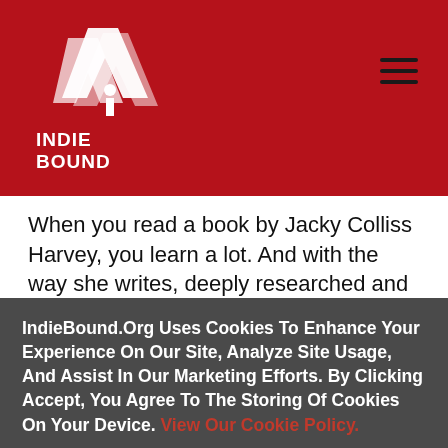[Figure (logo): IndieBound logo: white stylized book/quill graphic above text INDIE BOUND on red background]
When you read a book by Jacky Colliss Harvey, you learn a lot. And with the way she writes, deeply researched and with wit and erudition, you also have fun as you learn.—Veteranscribe's
"[Jacky Colliss Harvey] writes, with affection and wit,
IndieBound.Org Uses Cookies To Enhance Your Experience On Our Site, Analyze Site Usage, And Assist In Our Marketing Efforts. By Clicking Accept, You Agree To The Storing Of Cookies On Your Device. View Our Cookie Policy.
Give me more info
Accept all Cookies